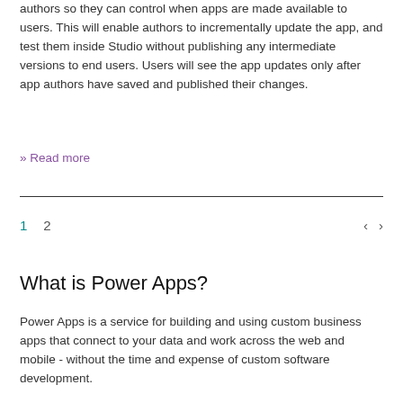We are excited to introduce an explicit Publish action for app authors so they can control when apps are made available to users. This will enable authors to incrementally update the app, and test them inside Studio without publishing any intermediate versions to end users. Users will see the app updates only after app authors have saved and published their changes.
» Read more
1  2  < >
What is Power Apps?
Power Apps is a service for building and using custom business apps that connect to your data and work across the web and mobile - without the time and expense of custom software development.